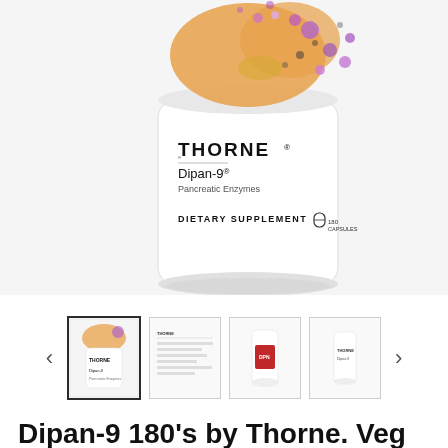[Figure (photo): Thorne Dipan-9 supplement bottle product photo on light gray background. Bottle is white with colorful abstract art at top (orange, purple, gold splashes). Label reads: THORNE, Dipan-9® Pancreatic Enzymes, DIETARY SUPPLEMENT, 180 CAPSULES.]
[Figure (photo): Thumbnail strip showing 4 product images with left and right navigation arrows. First thumbnail (active, with bold border) shows the Thorne Dipan-9 bottle. Second shows a text/info panel. Third shows a red-labeled bottle. Fourth shows another white bottle.]
Dipan-9 180's by Thorne. Veg Cap. Pancreatic Enzymes. Lactose Free